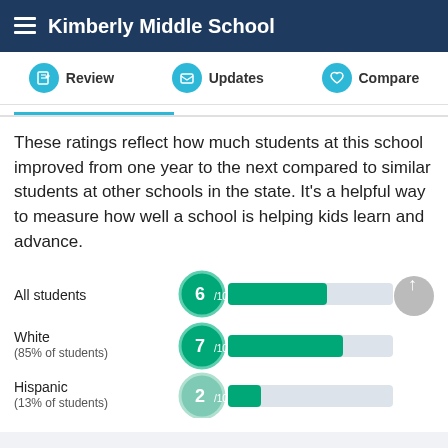Kimberly Middle School
These ratings reflect how much students at this school improved from one year to the next compared to similar students at other schools in the state. It's a helpful way to measure how well a school is helping kids learn and advance.
[Figure (bar-chart): Student ratings]